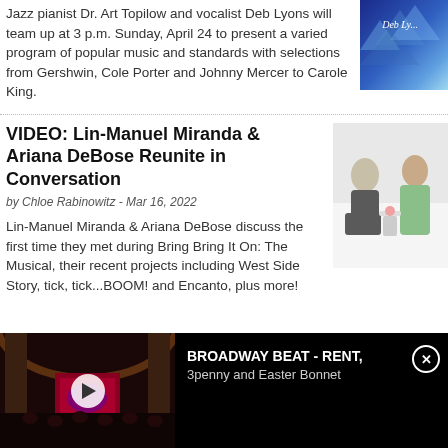Jazz pianist Dr. Art Topilow and vocalist Deb Lyons will team up at 3 p.m. Sunday, April 24 to present a varied program of popular music and standards with selections from Gershwin, Cole Porter and Johnny Mercer to Carole King.
[Figure (photo): Blue-toned promotional image with 'Deb Ly...' text overlay]
VIDEO: Lin-Manuel Miranda & Ariana DeBose Reunite in Conversation
by Chloe Rabinowitz - Mar 16, 2022
Lin-Manuel Miranda & Ariana DeBose discuss the first time they met during Bring Bring It On: The Musical, their recent projects including West Side Story, tick, tick...BOOM! and Encanto, plus more!
[Figure (photo): Two people seated in conversation, one in green outfit]
[Figure (screenshot): Video player showing theater interior with play button. Banner reads: BROADWAY BEAT - RENT, 3penny and Easter Bonnet]